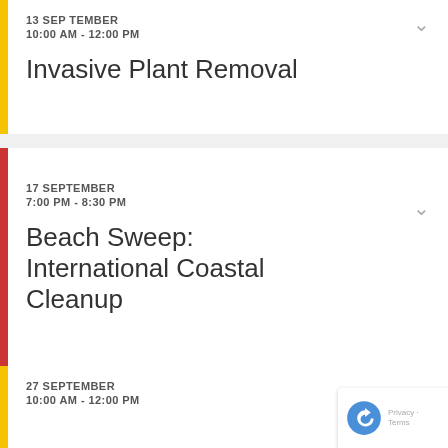13 SEPTEMBER
10:00 AM - 12:00 PM
Invasive Plant Removal
17 SEPTEMBER
7:00 PM - 8:30 PM
Beach Sweep: International Coastal Cleanup
27 SEPTEMBER
10:00 AM - 12:00 PM
[Figure (other): Google reCAPTCHA badge overlay with rotating arrows icon and 'Privacy · Terms' text]